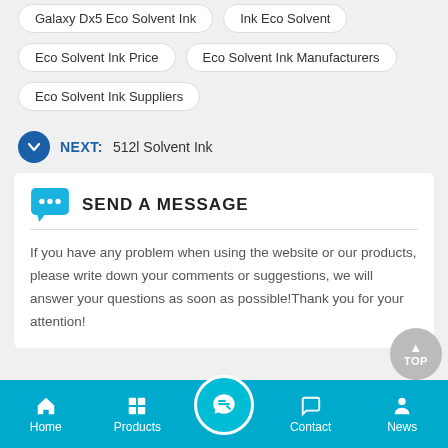Galaxy Dx5 Eco Solvent Ink
Ink Eco Solvent
Eco Solvent Ink Price
Eco Solvent Ink Manufacturers
Eco Solvent Ink Suppliers
NEXT:  512l Solvent Ink
SEND A MESSAGE
If you have any problem when using the website or our products, please write down your comments or suggestions, we will answer your questions as soon as possible!Thank you for your attention!
Home  Products  Contact  News